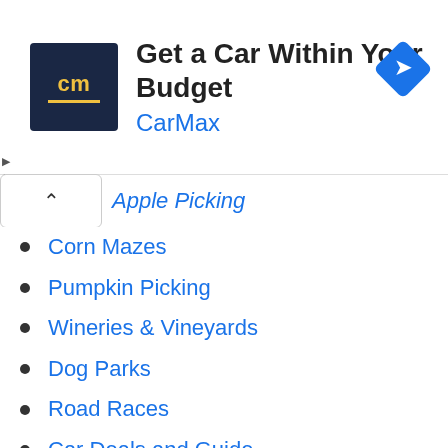[Figure (screenshot): CarMax advertisement banner with logo, headline 'Get a Car Within Your Budget', brand name 'CarMax', and navigation icon]
Apple Picking
Corn Mazes
Pumpkin Picking
Wineries & Vineyards
Dog Parks
Road Races
Car Deals and Guide
EV Charging Stations
Museums
Nature Centers
Parks